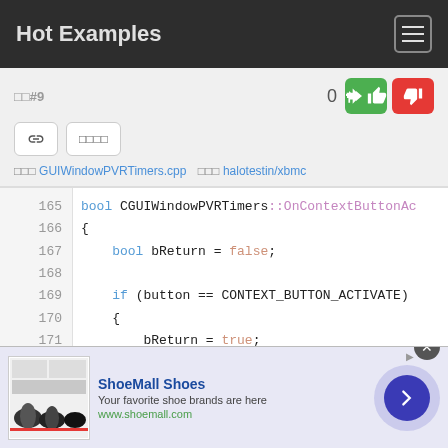Hot Examples
□□#9  0
□□□□ GUIWindowPVRTimers.cpp  □□□ halotestin/xbmc
[Figure (screenshot): Code snippet showing C++ function bool CGUIWindowPVRTimers::OnContextButtonAc with lines 165-171: bool bReturn = false; if (button == CONTEXT_BUTTON_ACTIVATE) { bReturn = true;]
[Figure (infographic): Advertisement banner for ShoeMall Shoes with shoe images, text 'Your favorite shoe brands are here', www.shoemall.com, and navigation arrow button]